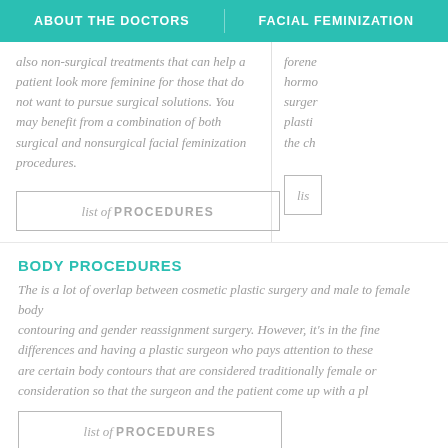ABOUT THE DOCTORS    FACIAL FEMINIZATION
also non-surgical treatments that can help a patient look more feminine for those that do not want to pursue surgical solutions. You may benefit from a combination of both surgical and nonsurgical facial feminization procedures.
forene hormo surger plasti the ch
list of PROCEDURES
lis
BODY PROCEDURES
The is a lot of overlap between cosmetic plastic surgery and male to female body contouring and gender reassignment surgery. However, it's in the fine differences and having a plastic surgeon who pays attention to these are certain body contours that are considered traditionally female on consideration so that the surgeon and the patient come up with a pl
list of PROCEDURES